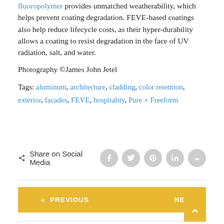fluoropolymer provides unmatched weatherability, which helps prevent coating degradation. FEVE-based coatings also help reduce lifecycle costs, as their hyper-durability allows a coating to resist degradation in the face of UV radiation, salt, and water.
Photography ©James John Jetel
Tags: aluminum, architecture, cladding, color retention, exterior, facades, FEVE, hospitality, Pure + Freeform
Share on Social Media
« PREVIOUS
NEXT »